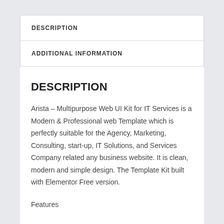DESCRIPTION
ADDITIONAL INFORMATION
DESCRIPTION
Arista – Multipurpose Web UI Kit for IT Services is a Modern & Professional web Template which is perfectly suitable for the Agency, Marketing, Consulting, start-up, IT Solutions, and Services Company related any business website. It is clean, modern and simple design. The Template Kit built with Elementor Free version.
Features